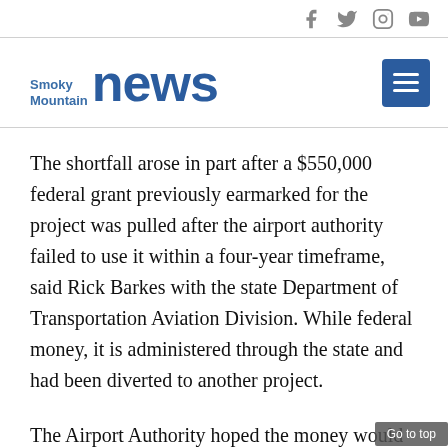Smoky Mountain News — social icons bar
[Figure (logo): Smoky Mountain News logo with blue text and hamburger menu button]
The shortfall arose in part after a $550,000 federal grant previously earmarked for the project was pulled after the airport authority failed to use it within a four-year timeframe, said Rick Barkes with the state Department of Transportation Aviation Division. While federal money, it is administered through the state and had been diverted to another project.
The Airport Authority hoped the money would be restored, and now seems to have confirmation that will be the case.